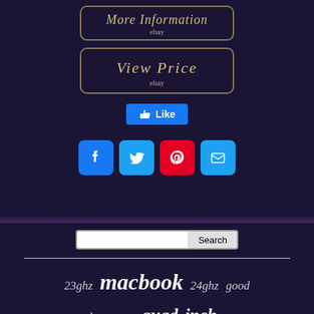[Figure (screenshot): Dark navy button labeled 'More Information' with gold italic text and 'ebay' subtitle, gold border, rounded corners]
[Figure (screenshot): Dark navy button labeled 'View Price' with large gold italic text and 'ebay' subtitle, gold border, rounded corners]
[Figure (screenshot): Facebook Like button (blue background, thumbs up icon, 'Like' text)]
[Figure (screenshot): Social sharing icons: Facebook (blue), Twitter (light blue), Pinterest (red), Email (light blue)]
[Figure (screenshot): Search bar with text input and Search button]
23ghz  macbook  24ghz  good  grade  macos  quad  inch  silver  year  intel  apple  a1398  512  16gb